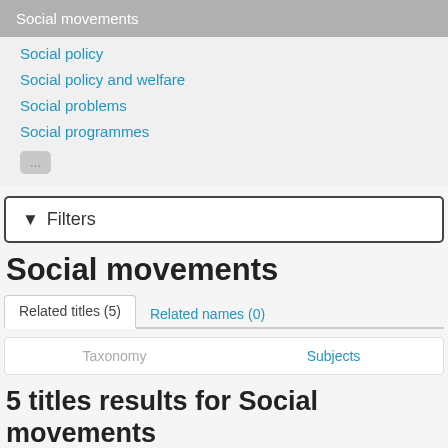Social movements
Social policy
Social policy and welfare
Social problems
Social programmes
...
Filters
Social movements
Related titles (5)   Related names (0)
Taxonomy   Subjects
5 titles results for Social movements